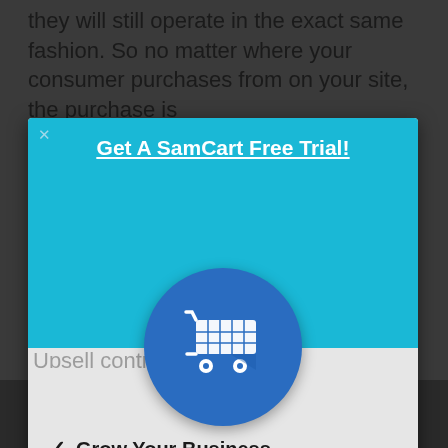they will still operate in the exact same fashion. So no matter where your consumer purchases from on your site, the purchase is
[Figure (screenshot): SamCart promotional modal popup with blue header, shopping cart icon in a blue circle, title 'Get A SamCart Free Trial!' and checkmark list items: Grow Your Business, Skyrocket Your Sales, Attract More Customers]
Grow Your Business
Skyrocket Your Sales
Attract More Customers
Explode Your Income